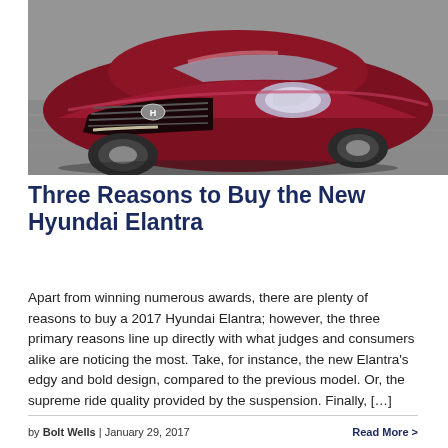[Figure (photo): A red Hyundai Elantra sedan photographed from the front-left angle while driving on a road, with motion blur in the background.]
Three Reasons to Buy the New Hyundai Elantra
Apart from winning numerous awards, there are plenty of reasons to buy a 2017 Hyundai Elantra; however, the three primary reasons line up directly with what judges and consumers alike are noticing the most. Take, for instance, the new Elantra's edgy and bold design, compared to the previous model. Or, the supreme ride quality provided by the suspension. Finally, […]
by Bolt Wells  |  January 29, 2017    Read More >